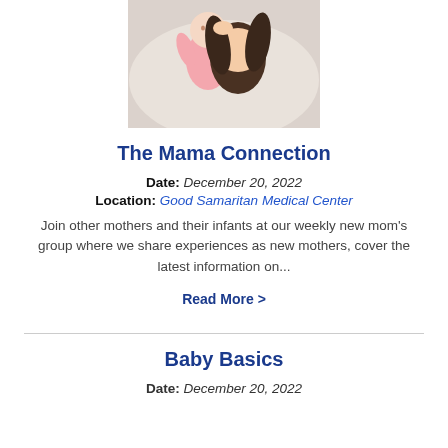[Figure (photo): A mother and baby lying together, the baby in pink clothing, viewed from above.]
The Mama Connection
Date: December 20, 2022
Location: Good Samaritan Medical Center
Join other mothers and their infants at our weekly new mom's group where we share experiences as new mothers, cover the latest information on...
Read More >
Baby Basics
Date: December 20, 2022